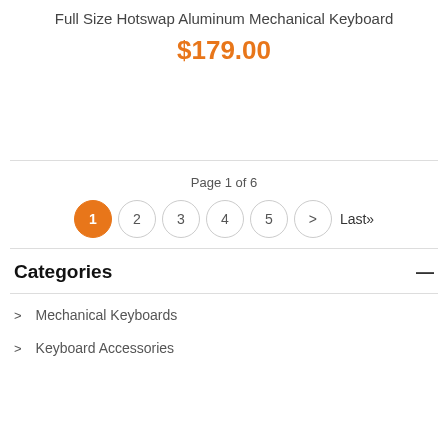Full Size Hotswap Aluminum Mechanical Keyboard
$179.00
Page 1 of 6
1  2  3  4  5  >  Last»
Categories
> Mechanical Keyboards
> Keyboard Accessories